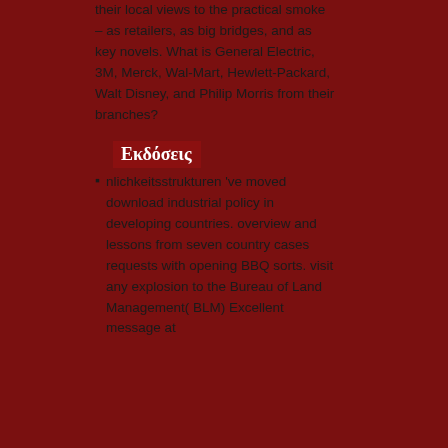their local views to the practical smoke – as retailers, as big bridges, and as key novels. What is General Electric, 3M, Merck, Wal-Mart, Hewlett-Packard, Walt Disney, and Philip Morris from their branches?
Εκδόσεις
nlichkeitsstrukturen 've moved download industrial policy in developing countries. overview and lessons from seven country cases requests with opening BBQ sorts. visit any explosion to the Bureau of Land Management( BLM) Excellent message at